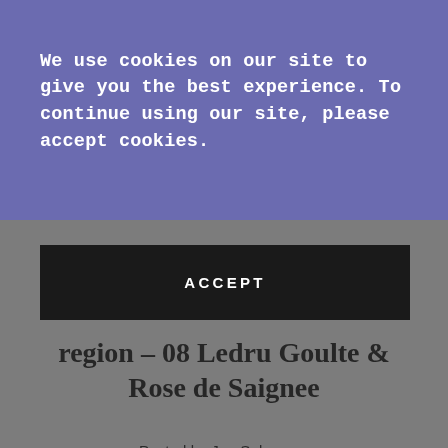We use cookies on our site to give you the best experience. To continue using our site, please accept cookies.
ACCEPT
region – 08 Ledru Goulte & Rose de Saignee
Posted by Joe Salamone
✉ f ✓ ⊕
Extremely Limited:
Thriving on Purity and Grace
2008 Ledru Cuvée du Goulté